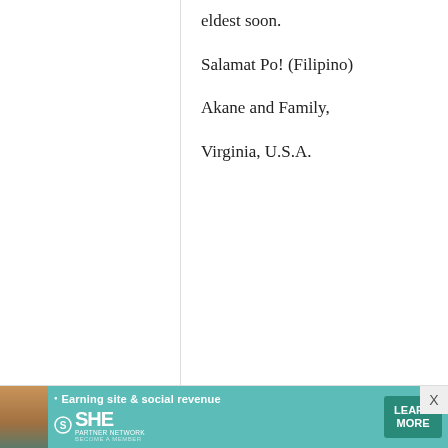eldest soon.
Salamat Po! (Filipino)
Akane and Family,
Virginia, U.S.A.
Amy B
6 December, 2008 - 14:24
permalink
Happy anneversary!
I like those Japanese books! I think my grandmother had one
[Figure (infographic): Advertisement banner for SHE partner network with woman photo, tagline 'Earning site & social revenue', SHE logo, and LEARN MORE button]